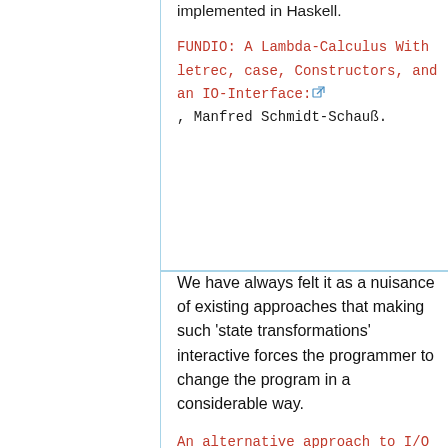implemented in Haskell.
FUNDIO: A Lambda-Calculus With letrec, case, Constructors, and an IO-Interface: [link], Manfred Schmidt-Schauß.
We have always felt it as a nuisance of existing approaches that making such 'state transformations' interactive forces the programmer to change the program in a considerable way.
An alternative approach to I/O [link], Maarten Fokkinga and Jan Kuper.